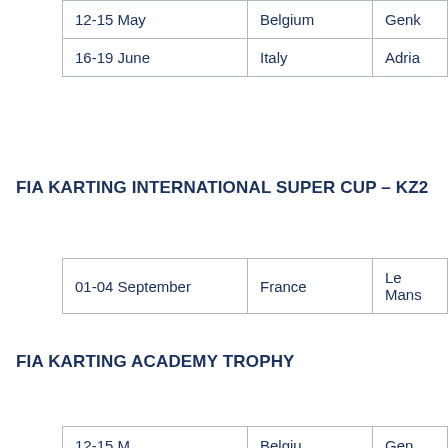| 12-15 May | Belgium | Genk |
| 16-19 June | Italy | Adria |
FIA KARTING INTERNATIONAL SUPER CUP – KZ2
| 01-04 September | France | Le Mans |
FIA KARTING ACADEMY TROPHY
| 12-15 M... | Belgiu... | Gen... |